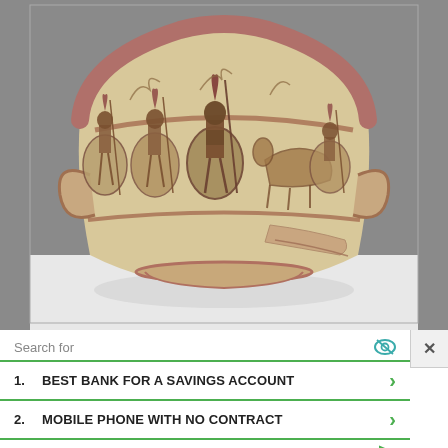[Figure (photo): Ancient Greek krater (large ceramic vessel) with painted warrior figures carrying shields and spears, displayed on a white surface against a gray museum background. The pot is cream/beige colored with reddish-brown painted decorations showing soldiers in armor.]
Search for
1.  BEST BANK FOR A SAVINGS ACCOUNT
2.  MOBILE PHONE WITH NO CONTRACT
Yahoo! Search | Sponsored